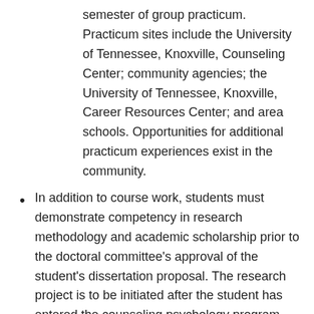semester of group practicum. Practicum sites include the University of Tennessee, Knoxville, Counseling Center; community agencies; the University of Tennessee, Knoxville, Career Resources Center; and area schools. Opportunities for additional practicum experiences exist in the community.
In addition to course work, students must demonstrate competency in research methodology and academic scholarship prior to the doctoral committee's approval of the student's dissertation proposal. The research project is to be initiated after the student has entered the counseling psychology program.
Satisfactory completion of the following curriculum. A. Psychological Foundations – minimum of 21 hours.